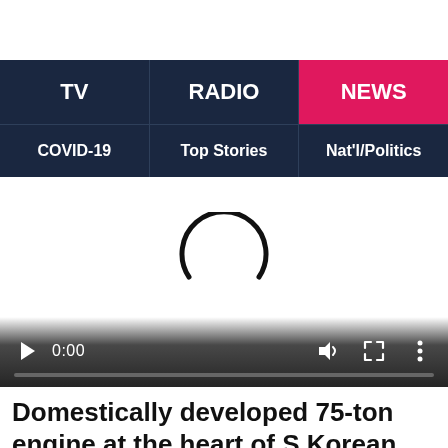TV | RADIO | NEWS
COVID-19 | Top Stories | Nat'l/Politics
[Figure (screenshot): Video player with loading spinner showing a circular spinner arc and playback controls including play button, time 0:00, volume, fullscreen, and more options icons, with a progress bar at bottom.]
Domestically developed 75-ton engine at the heart of S.Korean